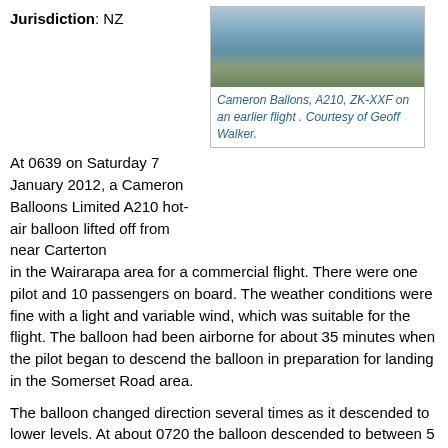Jurisdiction: NZ
[Figure (photo): Aerial photo of a hot-air balloon in flight over hilly terrain]
Cameron Ballons, A210, ZK-XXF on an earlier flight . Courtesy of Geoff Walker.
At 0639 on Saturday 7 January 2012, a Cameron Balloons Limited A210 hot-air balloon lifted off from near Carterton in the Wairarapa area for a commercial flight. There were one pilot and 10 passengers on board. The weather conditions were fine with a light and variable wind, which was suitable for the flight. The balloon had been airborne for about 35 minutes when the pilot began to descend the balloon in preparation for landing in the Somerset Road area.
The balloon changed direction several times as it descended to lower levels. At about 0720 the balloon descended to between 5 and 7 metres (m) from the ground as it drifted over a silage paddock. The paddock was bounded on 2 sides by 33-kilovolt (kV) power lines with an average height of about 9 m. The balloon had earlier drifted near that paddock at a height of between 30 and 60 m, heading in the opposite direction.
The balloon was drifting towards the power lines on the far road-end boundary when the wind changed and took it towards power lines